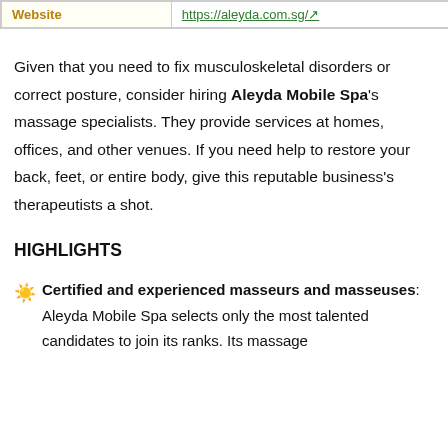| Website | https://aleyda.com.sg/↗ |
| --- | --- |
Given that you need to fix musculoskeletal disorders or correct posture, consider hiring Aleyda Mobile Spa's massage specialists. They provide services at homes, offices, and other venues. If you need help to restore your back, feet, or entire body, give this reputable business's therapeutists a shot.
HIGHLIGHTS
Certified and experienced masseurs and masseuses: Aleyda Mobile Spa selects only the most talented candidates to join its ranks. Its massage